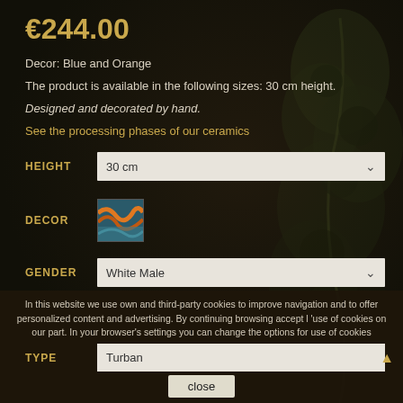€244.00
Decor: Blue and Orange
The product is available in the following sizes: 30 cm height.
Designed and decorated by hand.
See the processing phases of our ceramics
HEIGHT   30 cm
[Figure (photo): Small thumbnail swatch showing blue and orange ceramic decor pattern]
DECOR
GENDER   White Male
TYPE   Turban
In this website we use own and third-party cookies to improve navigation and to offer personalized content and advertising. By continuing browsing accept l 'use of cookies on our part. In your browser's settings you can change the options for use of cookies
close